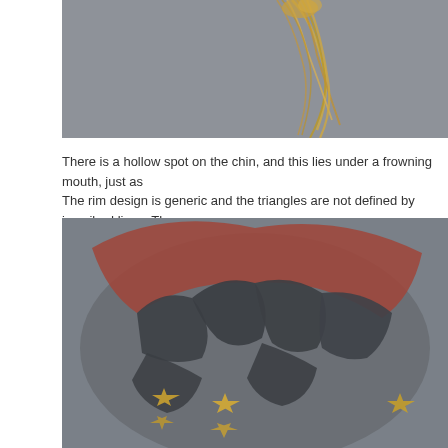[Figure (photo): Close-up photo of golden-brown hair tufts on a gray background]
There is a hollow spot on the chin, and this lies under a frowning mouth, just as The rim design is generic and the triangles are not defined by inscribed lines. Th
[Figure (photo): Close-up photo of a ceramic or stone artifact with dark gray and reddish-brown triangular patterns and golden star-like decorative elements at the bottom]